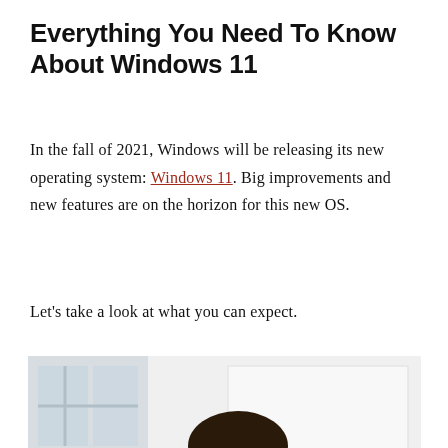Everything You Need To Know About Windows 11
In the fall of 2021, Windows will be releasing its new operating system: Windows 11. Big improvements and new features are on the horizon for this new OS.
Let's take a look at what you can expect.
[Figure (photo): A smiling woman with dark hair and bangs, seated indoors near a window in a bright room, looking at the camera cheerfully.]